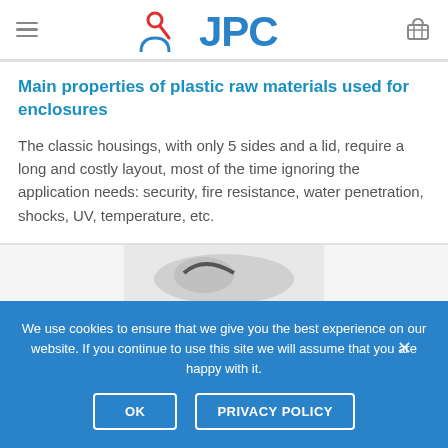[Figure (logo): JPC company logo with red search icon and blue text 'JPC', hamburger menu icon on left, basket icon on right]
Main properties of plastic raw materials used for enclosures
The classic housings, with only 5 sides and a lid, require a long and costly layout, most of the time ignoring the application needs: security, fire resistance, water penetration, shocks, UV, temperature, etc.
[Figure (photo): Partial view of plastic enclosure/housing product]
We use cookies to ensure that we give you the best experience on our website. If you continue to use this site we will assume that you are happy with it.